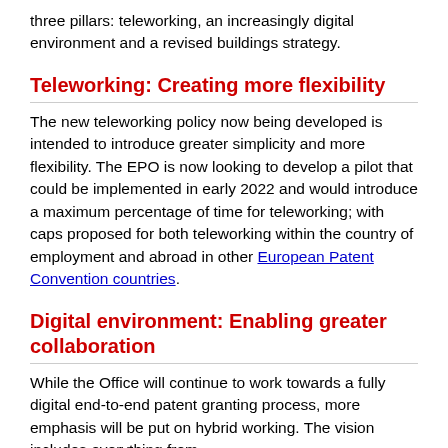three pillars: teleworking, an increasingly digital environment and a revised buildings strategy.
Teleworking: Creating more flexibility
The new teleworking policy now being developed is intended to introduce greater simplicity and more flexibility. The EPO is now looking to develop a pilot that could be implemented in early 2022 and would introduce a maximum percentage of time for teleworking; with caps proposed for both teleworking within the country of employment and abroad in other European Patent Convention countries.
Digital environment: Enabling greater collaboration
While the Office will continue to work towards a fully digital end-to-end patent granting process, more emphasis will be put on hybrid working. The vision includes everything from